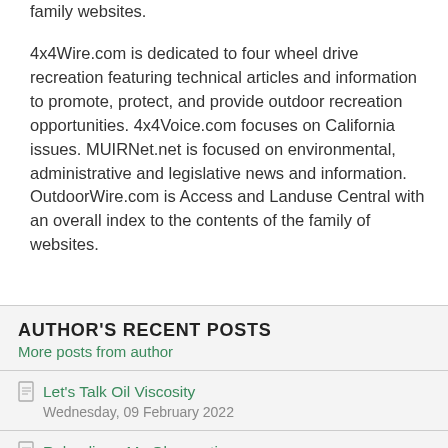family websites.
4x4Wire.com is dedicated to four wheel drive recreation featuring technical articles and information to promote, protect, and provide outdoor recreation opportunities. 4x4Voice.com focuses on California issues. MUIRNet.net is focused on environmental, administrative and legislative news and information. OutdoorWire.com is Access and Landuse Central with an overall index to the contents of the family of websites.
AUTHOR'S RECENT POSTS
More posts from author
Let's Talk Oil Viscosity
Wednesday, 09 February 2022
Reloading - My Observations
Thursday, 20 January 2022